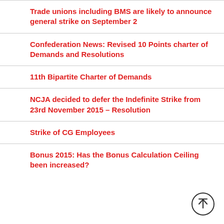Trade unions including BMS are likely to announce general strike on September 2
Confederation News: Revised 10 Points charter of Demands and Resolutions
11th Bipartite Charter of Demands
NCJA decided to defer the Indefinite Strike from 23rd November 2015 – Resolution
Strike of CG Employees
Bonus 2015: Has the Bonus Calculation Ceiling been increased?